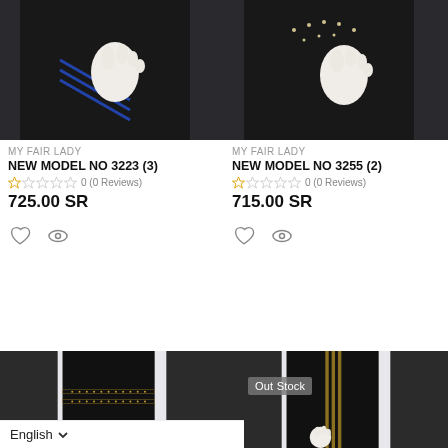[Figure (photo): Close-up of black abaya with blue stripe trim and white gloved hand, top-left product]
[Figure (photo): Close-up of black abaya with studded embellishment and white gloved hand, top-right product]
MY FAIR LADY
NEW MODEL NO 3223 (3)
0 (0 Reviews)
725.00 SR
MY FAIR LADY
NEW MODEL NO 3255 (2)
0 (0 Reviews)
715.00 SR
[Figure (photo): Close-up of black abaya with gold studded horizontal trim, bottom-left product]
[Figure (photo): Black abaya with gold vertical stripes, Out Stock badge, bottom-right product]
English